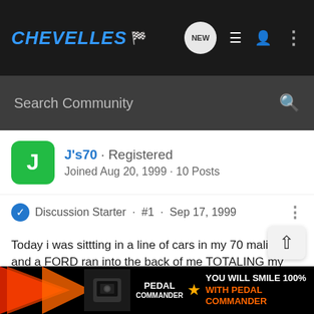CHEVELLES
Search Community
J's70 · Registered
Joined Aug 20, 1999 · 10 Posts
Discussion Starter · #1 · Sep 17, 1999
Today i was sittting in a line of cars in my 70 malibu and a FORD ran into the back of me TOTALING my Chevelle  Well my heart and sole just got destroyed and the fored got pretty banged up my chevelle is gone forever. I don't know if ill ever get another one. The frame was completely bent/broke quaters destroyed along w/ the bumpers and i couldent open my door. I'm probally going to part out the car. The car was a frame on restoration i have tons and tons of new parts. Ratiaator, top half of motor, tranny, alumin slots w/ brand new BFG radials Lakewood and spankin except
[Figure (screenshot): Pedal Commander advertisement banner at the bottom of the page]